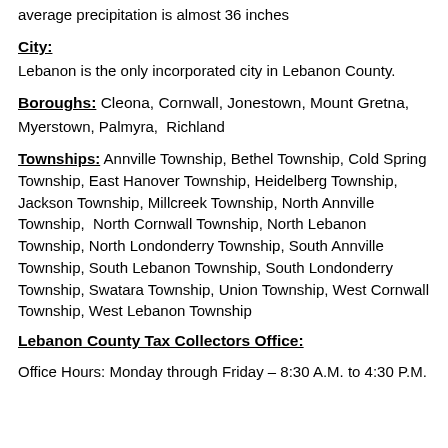average precipitation is almost 36 inches
City:
Lebanon is the only incorporated city in Lebanon County.
Boroughs:
Cleona, Cornwall, Jonestown, Mount Gretna, Myerstown, Palmyra, Richland
Townships:
Annville Township, Bethel Township, Cold Spring Township, East Hanover Township, Heidelberg Township, Jackson Township, Millcreek Township, North Annville Township, North Cornwall Township, North Lebanon Township, North Londonderry Township, South Annville Township, South Lebanon Township, South Londonderry Township, Swatara Township, Union Township, West Cornwall Township, West Lebanon Township
Lebanon County Tax Collectors Office:
Office Hours: Monday through Friday – 8:30 A.M. to 4:30 P.M.